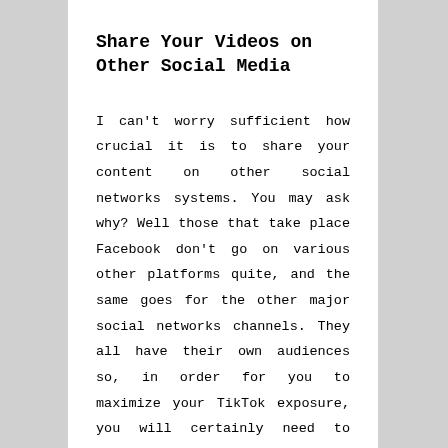Share Your Videos on Other Social Media
I can't worry sufficient how crucial it is to share your content on other social networks systems. You may ask why? Well those that take place Facebook don't go on various other platforms quite, and the same goes for the other major social networks channels. They all have their own audiences so, in order for you to maximize your TikTok exposure, you will certainly need to share your videos on various other huge systems.
Twitter, Snapchat, Instagram, Pinterest and also